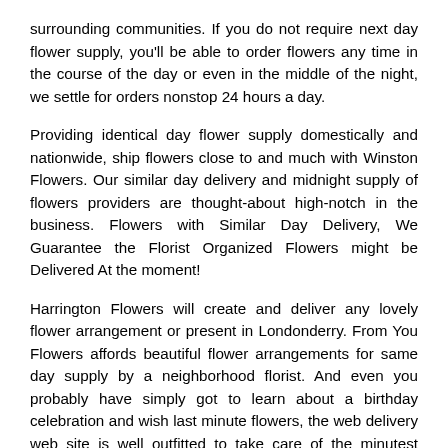surrounding communities. If you do not require next day flower supply, you'll be able to order flowers any time in the course of the day or even in the middle of the night, we settle for orders nonstop 24 hours a day.
Providing identical day flower supply domestically and nationwide, ship flowers close to and much with Winston Flowers. Our similar day delivery and midnight supply of flowers providers are thought-about high-notch in the business. Flowers with Similar Day Delivery, We Guarantee the Florist Organized Flowers might be Delivered At the moment!
Harrington Flowers will create and deliver any lovely flower arrangement or present in Londonderry. From You Flowers affords beautiful flower arrangements for same day supply by a neighborhood florist. And even you probably have simply got to learn about a birthday celebration and wish last minute flowers, the web delivery web site is well outfitted to take care of the minutest particulars.
For the most beautiful flowers in Oshkosh, shop our intensive choice of floral arrangements and items. Not solely did they ship it by the point I requested, the flowers had been whimsical & looked identical to the